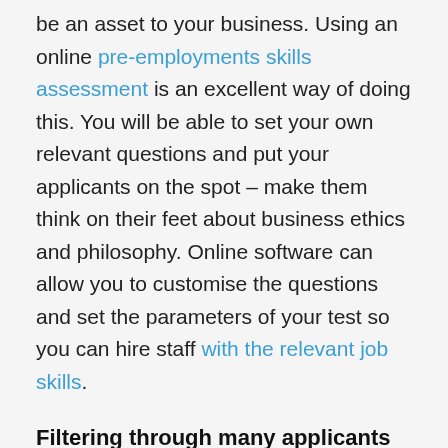be an asset to your business. Using an online pre-employments skills assessment is an excellent way of doing this. You will be able to set your own relevant questions and put your applicants on the spot – make them think on their feet about business ethics and philosophy. Online software can allow you to customise the questions and set the parameters of your test so you can hire staff with the relevant job skills.
Filtering through many applicants
If you have a large number of applicants you need to assess for a job then it is a good idea to use applicant tracking software. This will help you filter through people using criteria that you can decide. It may